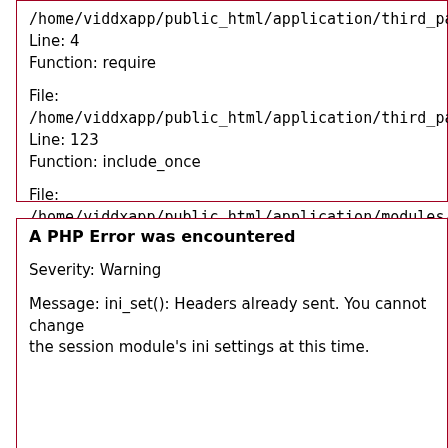/home/viddxapp/public_html/application/third_party/MX/Contr
Line: 4
Function: require

File:
/home/viddxapp/public_html/application/third_party/MX/Modu
Line: 123
Function: include_once

File:
/home/viddxapp/public_html/application/modules/dashboard/co
Line: 5
Function: spl_autoload_call

File: /home/viddxapp/public_html/index.php
Line: 318
Function: require_once
A PHP Error was encountered

Severity: Warning

Message: ini_set(): Headers already sent. You cannot change the session module's ini settings at this time.